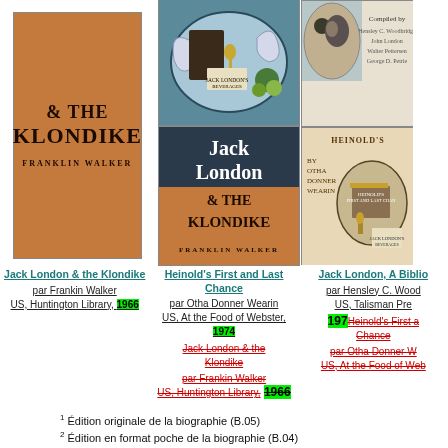[Figure (photo): Book cover: Jack London & The Klondike by Franklin Walker, brown/rust colored cover with bold black text]
[Figure (photo): Two book covers: top - Jack London's Beverages illustrated cover; bottom - Jack London & The Klondike by Franklin Walker, blue/brown cover]
[Figure (photo): Two partial book covers: top - compilation cover with text; bottom - Heinold's First and Last Chance by Otha Donner Wearin, illustrated cover]
Jack London & the Klondike
par Frankin Walker
US, Huntington Library, 1966
Heinold's First and Last Chance
par Otha Donner Wearin
US, At the Food of Webster, 1974
Jack London & the Klondike (strikethrough)
par Frankin Walker
US, Huntington Library, 1966 (strikethrough)
Jack London, A Biblio...
par Hensley C. Wood...
US, Talisman Pre...
1973
Heinold's First and Last Chance (strikethrough)
par Otha Donner W...
US, At the Food of Web... (strikethrough)
1 Édition originale de la biographie (B.05)
2 Édition en format poche de la biographie (B.04)